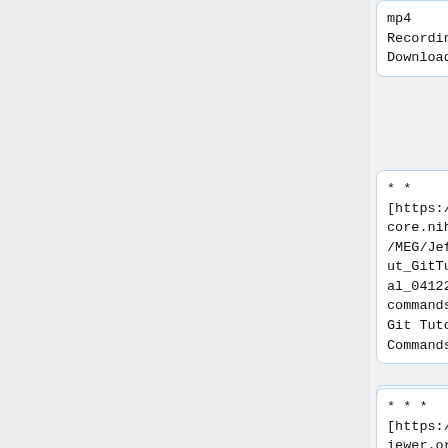mp4 Recording Download]
** [https://megcore.nih.gov/MEG/JeffStout_GitTutorial_04122022_commands.txt Git Tutorial Commands ]
**Additional Links:
*** [https://nbviewer.org/github/pelson/lessons_for_a_scientific